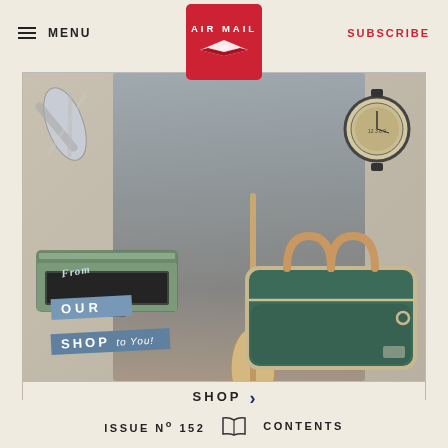MENU | AIR MAIL | SUBSCRIBE
[Figure (illustration): Collage editorial image: a well-dressed man in a suit leaning against a vintage brown car, overlaid with product images including a multi-tool, a vintage chronograph watch, a green portable camp stove/grill, a tan paddle, and a green duffle bag with leather handles. A blue ribbon banner reads 'From OUR SHOP to You!']
SHOP ›
ISSUE № 152  [book icon]  CONTENTS